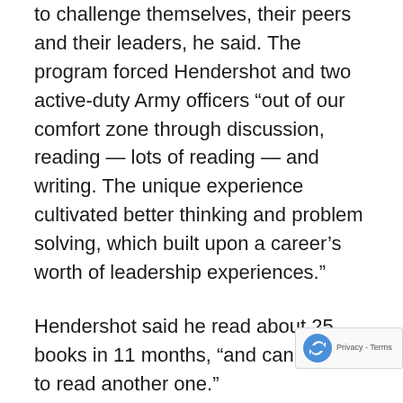to challenge themselves, their peers and their leaders, he said. The program forced Hendershot and two active-duty Army officers “out of our comfort zone through discussion, reading — lots of reading — and writing. The unique experience cultivated better thinking and problem solving, which built upon a career’s worth of leadership experiences.”
Hendershot said he read about 25 books in 11 months, “and cannot wait to read another one.”
War College studies emphasized policy-making, global strategy and statecraft, with lectures from general officers such as retired Adm. William McRaven — former commander of the U.S. Special Operations Command as well as former chancellor for the University of Texas system. Expectations for fellows included critical and creative thinking in addressing national security issues; evaluating theories of war, national security policy, strategic leadership, global